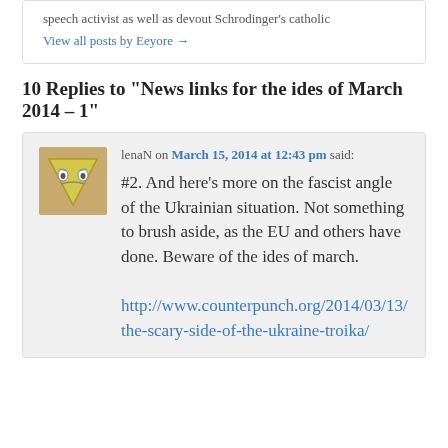speech activist as well as devout Schrodinger's catholic
View all posts by Eeyore →
10 Replies to "News links for the ides of March 2014 – 1"
lenaN on March 15, 2014 at 12:43 pm said:
#2. And here's more on the fascist angle of the Ukrainian situation. Not something to brush aside, as the EU and others have done. Beware of the ides of march.
http://www.counterpunch.org/2014/03/13/the-scary-side-of-the-ukraine-troika/